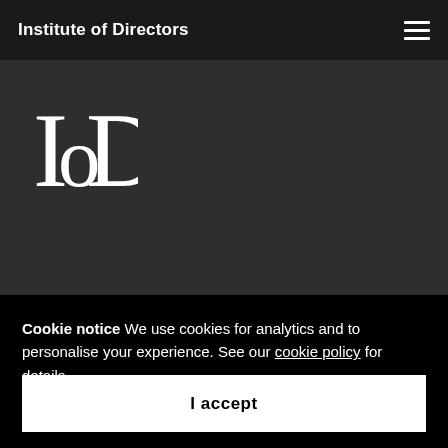Institute of Directors
[Figure (logo): IoD (Institute of Directors) logo — stylized serif letters I, o, D in white on dark background]
Cookie notice We use cookies for analytics and to personalise your experience. See our cookie policy for details.
I accept